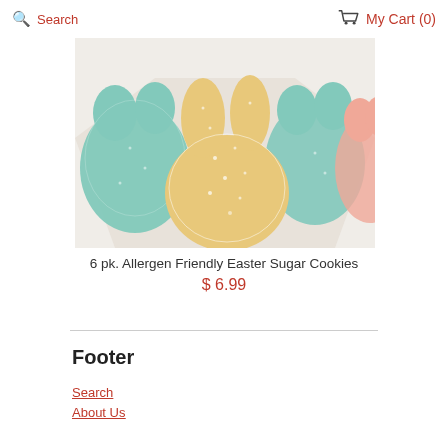Search  My Cart (0)
[Figure (photo): Easter sugar cookies in bunny and chick shapes with colored sugar, on a white surface. A yellow bunny-shaped cookie is in the front, teal/mint colored bunny cookies in the back.]
6 pk. Allergen Friendly Easter Sugar Cookies
$ 6.99
Footer
Search
About Us